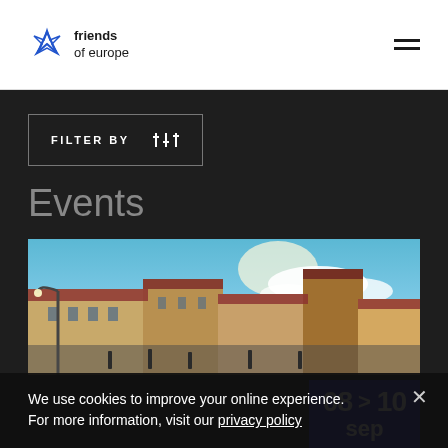friends of europe
FILTER BY
Events
[Figure (photo): Panoramic photo of European architecture with buildings, rooftops, street lamp, and blue sky with clouds]
We use cookies to improve your online experience.
For more information, visit our privacy policy
08 > 10 sep